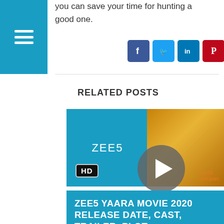you can save your time for hunting a good one.
[Figure (other): Social media share icons: Facebook, Twitter, LinkedIn, Pinterest, YouTube, RSS]
RELATED POSTS
[Figure (other): ZEE5 video thumbnail with HD badge, golden photo and play button overlay]
ZEE5 YAARA MOVIE 2020 RELEASE DATE, CAST, TRAILER, PLOT
If you are a movie buff, and in love with filmmaking, here is a name you should remember – Tigmanshu Dhulia. He was the director of the famous Paan Singh Tomar, which won the national